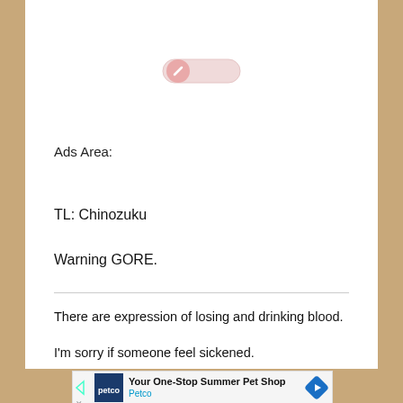[Figure (screenshot): A toggle switch UI element in off/disabled state, pinkish-red circular handle on left side of a rounded rectangle track]
Ads Area:
TL: Chinozuku
Warning GORE.
There are expression of losing and drinking blood.
I'm sorry if someone feel sickened.
[Figure (screenshot): Petco advertisement banner: 'Your One-Stop Summer Pet Shop' with Petco logo and navigation arrow]